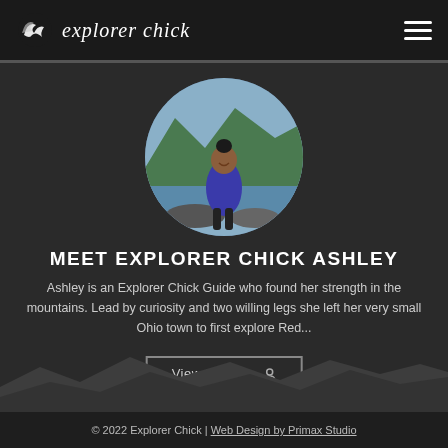Explorer Chick
[Figure (photo): Circular profile photo of Ashley, a Black woman wearing a blue hoodie, standing on rocks near a fjord with green mountains and water in the background.]
MEET EXPLORER CHICK ASHLEY
Ashley is an Explorer Chick Guide who found her strength in the mountains. Lead by curiosity and two willing legs she left her very small Ohio town to first explore Red...
View Profile
© 2022 Explorer Chick | Web Design by Primax Studio